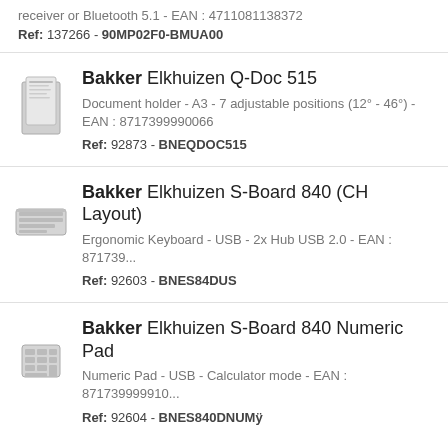receiver or Bluetooth 5.1 - EAN : 4711081138372
Ref: 137266 - 90MP02F0-BMUA00
Bakker Elkhuizen Q-Doc 515
Document holder - A3 - 7 adjustable positions (12° - 46°) - EAN : 8717399990066
Ref: 92873 - BNEQDOC515
Bakker Elkhuizen S-Board 840 (CH Layout)
Ergonomic Keyboard - USB - 2x Hub USB 2.0 - EAN : 871739...
Ref: 92603 - BNES84DUS
Bakker Elkhuizen S-Board 840 Numeric Pad
Numeric Pad - USB - Calculator mode - EAN : 871739999910...
Ref: 92604 - BNES840DNUMÿ